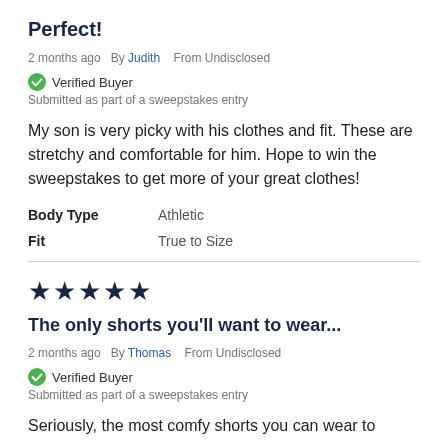Perfect!
2 months ago  By Judith  From Undisclosed
✓ Verified Buyer
Submitted as part of a sweepstakes entry
My son is very picky with his clothes and fit. These are stretchy and comfortable for him. Hope to win the sweepstakes to get more of your great clothes!
Body Type   Athletic
Fit   True to Size
[Figure (other): Five dark navy star icons representing a 5-star rating]
The only shorts you'll want to wear...
2 months ago  By Thomas  From Undisclosed
✓ Verified Buyer
Submitted as part of a sweepstakes entry
Seriously, the most comfy shorts you can wear to